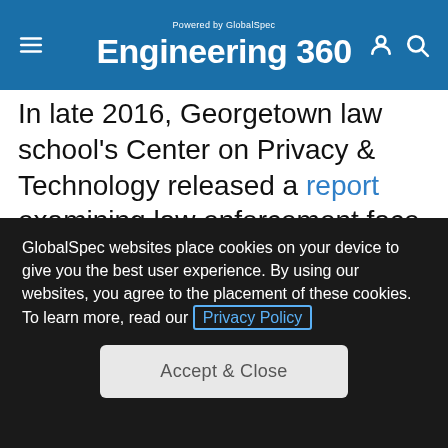Engineering 360 — Powered by GlobalSpec
In late 2016, Georgetown law school's Center on Privacy & Technology released a report examining law enforcement face recognition and the risks it poses to privacy and civil liberties. The report's co-authors suggest that mug shots, rather than driver's license photos, be the default image databases for face recognition. The
GlobalSpec websites place cookies on your device to give you the best user experience. By using our websites, you agree to the placement of these cookies. To learn more, read our Privacy Policy
Accept & Close